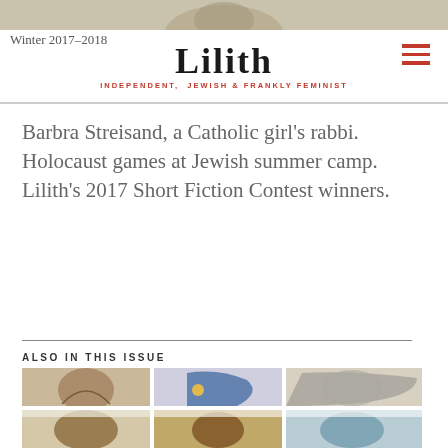[Figure (photo): Partial image strip at the very top of the page, cut off — shows a figure or illustration]
Lilith — INDEPENDENT, JEWISH & FRANKLY FEMINIST
Winter 2017–2018
Barbra Streisand, a Catholic girl's rabbi. Holocaust games at Jewish summer camp. Lilith's 2017 Short Fiction Contest winners.
ALSO IN THIS ISSUE
[Figure (photo): Grid of 6 magazine cover thumbnails arranged in 2 rows of 3, showing artistic portrait illustrations]